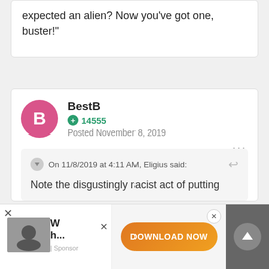expected an alien? Now you've got one, buster!"
BestB
14555
Posted November 8, 2019
On 11/8/2019 at 4:11 AM, Eligius said:
Note the disgustingly racist act of putting